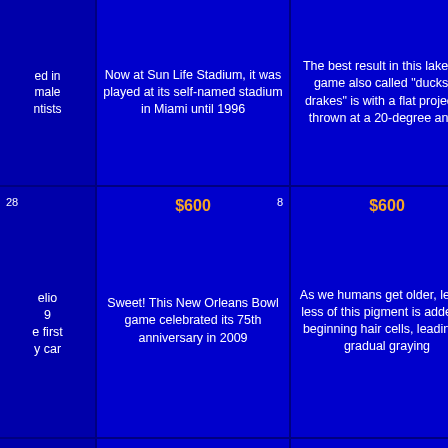...ed in ...male ...ntists
Now at Sun Life Stadium, it was played at its self-named stadium in Miami until 1996
The best result in this lakeside game also called "ducks & drakes" is with a flat projectile thrown at a 20-degree angle
The cry of a... an extremely... like...
28  $600  8 | ...elio ...9 ...e first ...y car
$600 8 | Sweet! This New Orleans Bowl game celebrated its 75th anniversary in 2009
$600 18 | As we humans get older, less & less of this pigment is added to beginning hair cells, leading to gradual graying
$6... | Despite its na... swan, when a... this noise, b...
29 | $800 9 | ...s was ...ntal | Party on, amigo, & name this Bowl game held in...
$800 9 | Party on, amigo, & name this Bowl game held in...
$800 19 | This type of "burn" happens when water molecules...
$8... | It's the harsh...